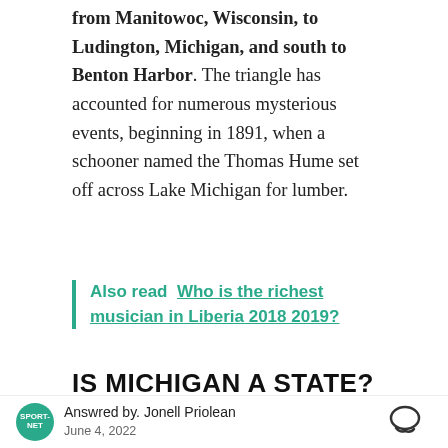from Manitowoc, Wisconsin, to Ludington, Michigan, and south to Benton Harbor. The triangle has accounted for numerous mysterious events, beginning in 1891, when a schooner named the Thomas Hume set off across Lake Michigan for lumber.
Also read  Who is the richest musician in Liberia 2018 2019?
IS MICHIGAN A STATE?
Michigan, constituent state of the United States
Answred by. Jonell Priolean  June 4, 2022